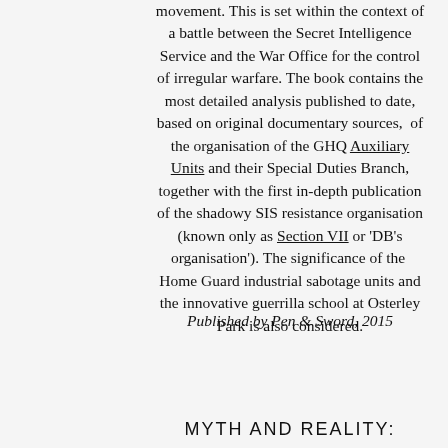movement. This is set within the context of a battle between the Secret Intelligence Service and the War Office for the control of irregular warfare. The book contains the most detailed analysis published to date, based on original documentary sources, of the organisation of the GHQ Auxiliary Units and their Special Duties Branch, together with the first in-depth publication of the shadowy SIS resistance organisation (known only as Section VII or 'DB's organisation'). The significance of the Home Guard industrial sabotage units and the innovative guerrilla school at Osterley Park is also considered.
Published by Pen & Sword, 2015
MYTH AND REALITY: